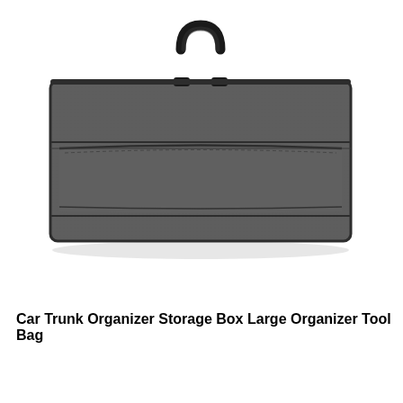[Figure (photo): A dark gray felt car trunk organizer storage bag with a black carry handle on top and a front flap pocket with stitched border detail, photographed against a white background.]
Car Trunk Organizer Storage Box Large Organizer Tool Bag